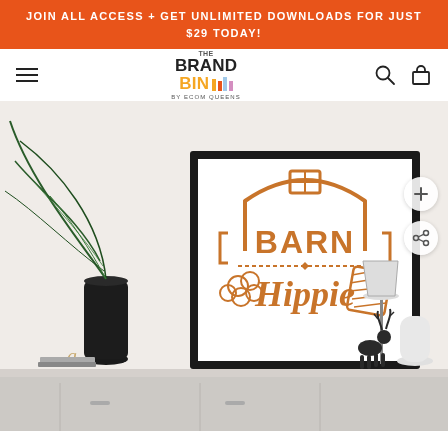JOIN ALL ACCESS + GET UNLIMITED DOWNLOADS FOR JUST $29 TODAY!
[Figure (logo): The Brand Bin by Ecom Queens logo with colorful vertical bars]
[Figure (photo): Product display photo: a framed print with 'Barn Hippie' design in brown/orange on white, set on a shelf with a dark vase with palm leaf, small decorative items, a dark reindeer figurine, and a white lamp]